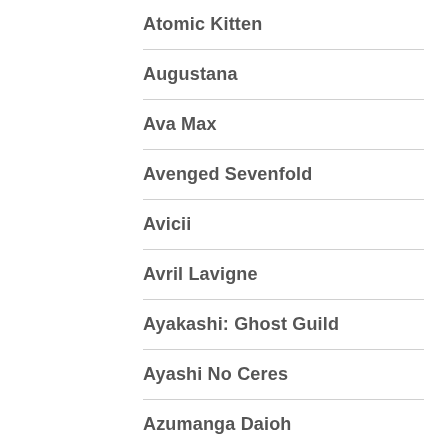Atomic Kitten
Augustana
Ava Max
Avenged Sevenfold
Avicii
Avril Lavigne
Ayakashi: Ghost Guild
Ayashi No Ceres
Azumanga Daioh
B Witched
B't X
Backstreet Boys